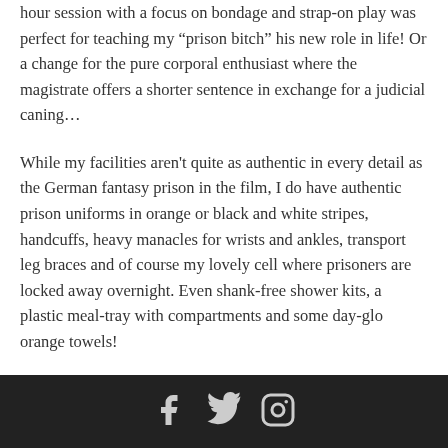hour session with a focus on bondage and strap-on play was perfect for teaching my “prison bitch” his new role in life! Or a change for the pure corporal enthusiast where the magistrate offers a shorter sentence in exchange for a judicial caning…
While my facilities aren't quite as authentic in every detail as the German fantasy prison in the film, I do have authentic prison uniforms in orange or black and white stripes, handcuffs, heavy manacles for wrists and ankles, transport leg braces and of course my lovely cell where prisoners are locked away overnight. Even shank-free shower kits, a plastic meal-tray with compartments and some day-glo orange towels!
[social icons: Facebook, Twitter, Instagram]